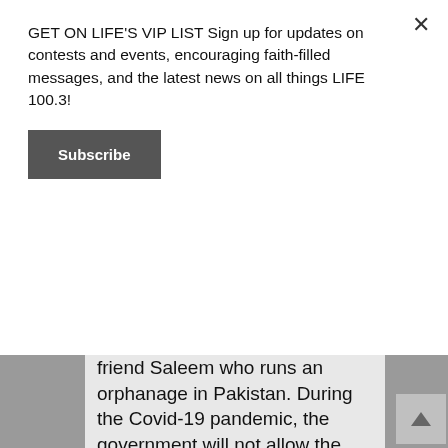GET ON LIFE'S VIP LIST Sign up for updates on contests and events, encouraging faith-filled messages, and the latest news on all things LIFE 100.3!
Subscribe
friend Saleem who runs an orphanage in Pakistan. During the Covid-19 pandemic, the government will not allow the children of the orphanage to have any money for food since it is run by Saleem and his wife who are Christians. I am trying to assist them with what little I have as I am on a strict, disability benefit pension, myself. Please pray that God will meet all their needs.